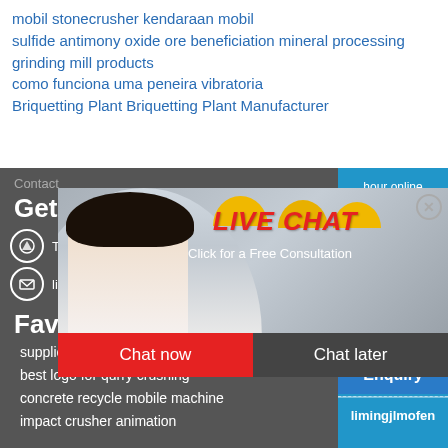mobil stonecrusher kendaraan mobil
sulfide antimony oxide ore beneficiation mineral processing
grinding mill products
como funciona uma peneira vibratoria
Briquetting Plant Briquetting Plant Manufacturer
Get in Touch
Tempor...
limingjlmofen@sina.com
Favorite product
supplier and supplier of grinding ba
best logo for qurry crushing
concrete recycle mobile machine
impact crusher animation
[Figure (screenshot): Live chat popup overlay with a woman in white shirt, workers in yellow hard hats in background, red 'LIVE CHAT' heading, 'Click for a Free Consultation' text, red 'Chat now' and dark 'Chat later' buttons]
[Figure (screenshot): Right side blue panel with 'hour online' text, industrial cone crusher machine image, 'Click me to chat>>' button, 'Enquiry' section, and 'limingjlmofen' text]